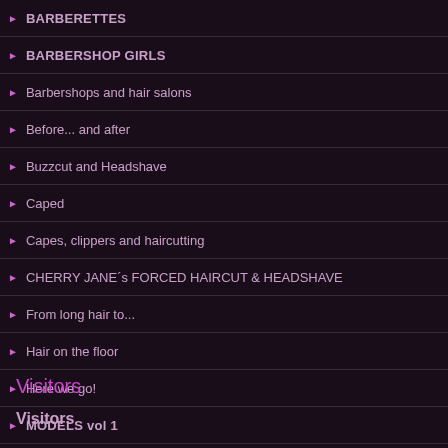BARBERETTES
BARBERSHOP GIRLS
Barbershops and hair salons
Before... and after
Buzzcut and Headshave
Caped
Capes, clippers and haircutting
CHERRY JANE´s FORCED HAIRCUT & HEADSHAVE
From long hair to...
Hair on the floor
Here we go!
MODELS vol 1
MODELS vol 2
MODELS vol 3
MODELS vol 4
MODELS vol 5
Nylon smocks and aprons
Shaved Girls With Clippers
Visitors
Visitors